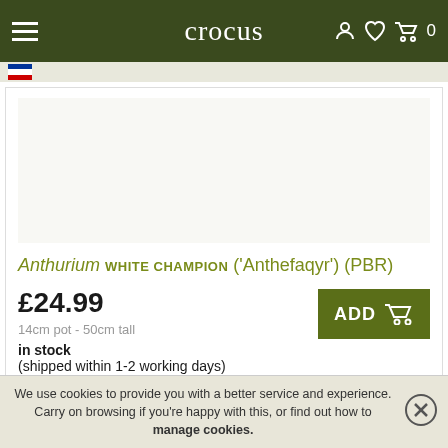crocus
[Figure (screenshot): Product image area placeholder (white/light background)]
Anthurium WHITE CHAMPION ('Anthefaqyr') (PBR)
£24.99
14cm pot - 50cm tall
in stock
(shipped within 1-2 working days)
[Figure (screenshot): Second product image area placeholder]
We use cookies to provide you with a better service and experience. Carry on browsing if you're happy with this, or find out how to manage cookies.